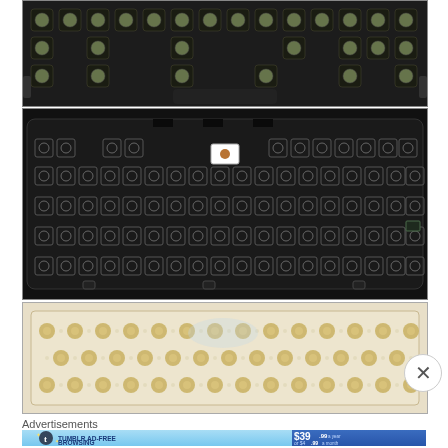[Figure (photo): Top view of keyboard PCB showing green-tinted key switches arranged in rows on a dark black frame]
[Figure (photo): Bottom/back view of keyboard frame showing square key mounting holes in a grid pattern on dark plastic chassis]
[Figure (photo): Rubber dome membrane sheet with beige/tan contact domes arranged in rows on white/cream substrate]
Advertisements
[Figure (infographic): Tumblr Ad-Free Browsing advertisement banner showing $39.99 a year or $4.99 a month pricing]